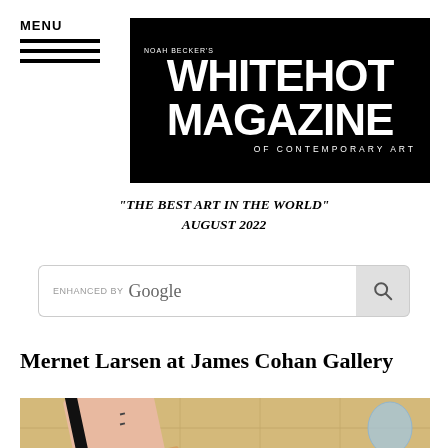MENU
[Figure (logo): Noah Becker's Whitehot Magazine of Contemporary Art logo — white text on black background]
"THE BEST ART IN THE WORLD" AUGUST 2022
[Figure (screenshot): Google Enhanced search bar with search button]
Mernet Larsen at James Cohan Gallery
[Figure (illustration): Partial view of a painting showing a stylized figure with a wooden floor background and a blue balloon, with a large blue circular shape]